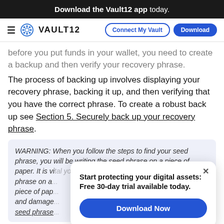Download the Vault12 app today.
[Figure (screenshot): Vault12 navigation bar with hamburger menu, Vault12 logo, Connect My Vault and Download buttons]
before you put funds in your wallet, you need to create a backup and then verify your recovery phrase.
The process of backing up involves displaying your recovery phrase, backing it up, and then verifying that you have the correct phrase. To create a robust back up see Section 5. Securely back up your recovery phrase.
WARNING: When you follow the steps to find your seed phrase, you will be writing the seed phrase on a piece of paper. It is vital you store the seed phrase on a... piece of pap... and damage... seed phrase...
Start protecting your digital assets: Free 30-day trial available today.
Download Now
You will now be asked to input random words from your